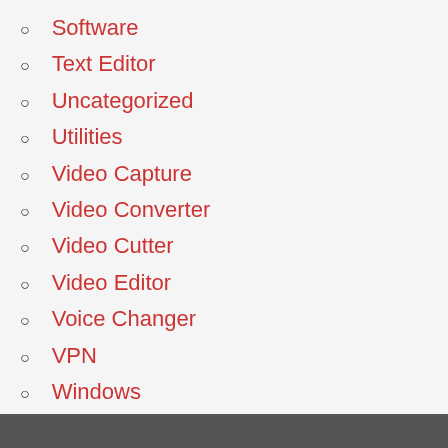Software
Text Editor
Uncategorized
Utilities
Video Capture
Video Converter
Video Cutter
Video Editor
Voice Changer
VPN
Windows
ALL CRACKED VERSION SOFTWARE ARE AVAILABLE IN MY SITE